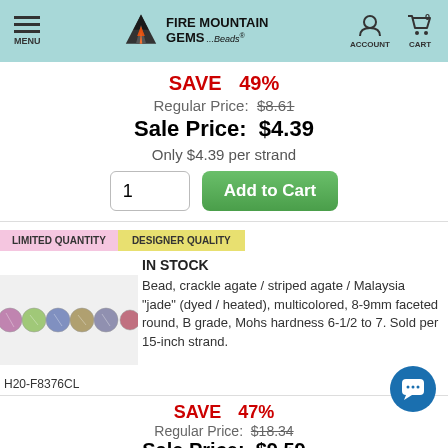Fire Mountain Gems and Beads — MENU | ACCOUNT | CART 0
SAVE 49%
Regular Price: $8.61
Sale Price: $4.39
Only $4.39 per strand
LIMITED QUANTITY | DESIGNER QUALITY
IN STOCK
Bead, crackle agate / striped agate / Malaysia "jade" (dyed / heated), multicolored, 8-9mm faceted round, B grade, Mohs hardness 6-1/2 to 7. Sold per 15-inch strand.
H20-F8376CL
SAVE 47%
Regular Price: $18.34
Sale Price: $9.59